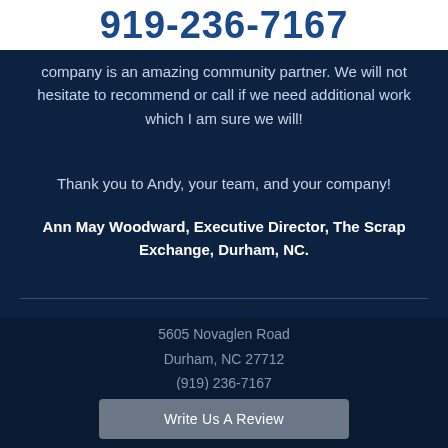919-236-7167
company is an amazing community partner. We will not hesitate to recommend or call if we need additional work which I am sure we will!
Thank you to Andy, your team, and your company!
Ann May Woodward, Executive Director, The Scrap Exchange, Durham, NC.
5605 Novaglen Road
Durham, NC 27712
(919) 236-7167
info@durhamelectricalservices.com
Write Us A Review